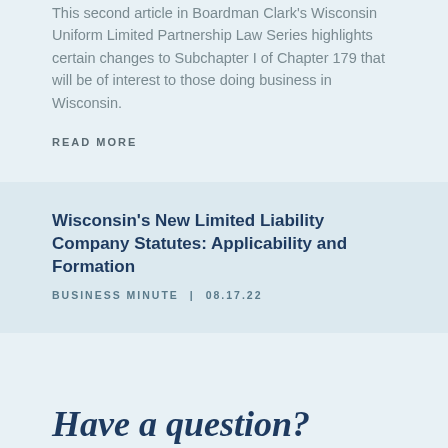This second article in Boardman Clark's Wisconsin Uniform Limited Partnership Law Series highlights certain changes to Subchapter I of Chapter 179 that will be of interest to those doing business in Wisconsin.
READ MORE
Wisconsin's New Limited Liability Company Statutes: Applicability and Formation
BUSINESS MINUTE  | 08.17.22
Have a question?